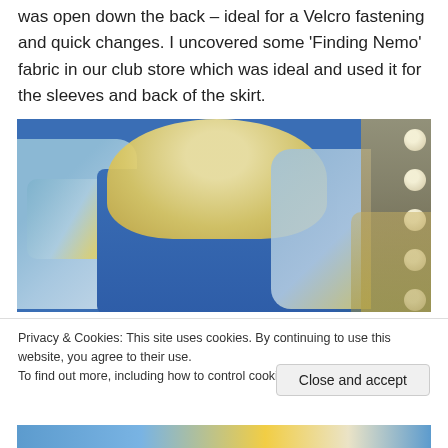was open down the back – ideal for a Velcro fastening and quick changes. I uncovered some 'Finding Nemo' fabric in our club store which was ideal and used it for the sleeves and back of the skirt.
[Figure (photo): Back view of a person with blonde curly hair wearing a blue satin costume with Finding Nemo printed fabric sleeves, standing in front of a mirror with dressing room lights]
Privacy & Cookies: This site uses cookies. By continuing to use this website, you agree to their use.
To find out more, including how to control cookies, see here: Cookie Policy
[Figure (photo): Bottom strip showing Finding Nemo fabric with orange and blue fish pattern]